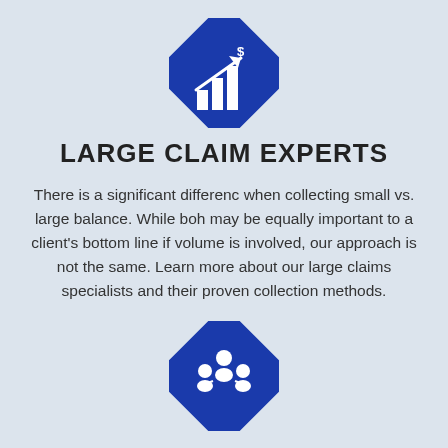[Figure (illustration): Blue diamond-shaped icon with a bar chart and upward arrow with dollar sign, representing financial growth]
LARGE CLAIM EXPERTS
There is a significant differenc when collecting small vs. large balance. While boh may be equally important to a client's bottom line if volume is involved, our approach is not the same. Learn more about our large claims specialists and their proven collection methods.
[Figure (illustration): Blue diamond-shaped icon with a group of three people (team/referral), representing credit service referral]
THE AIT CREDIT SERVICE REFERRAL